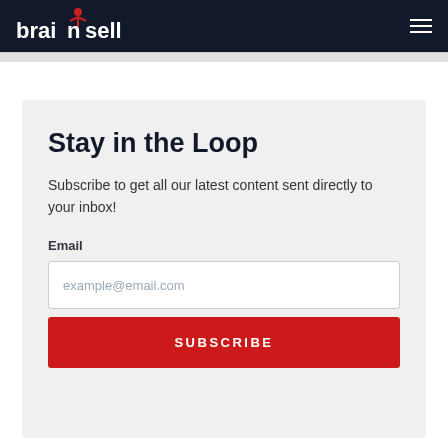brainsell
Stay in the Loop
Subscribe to get all our latest content sent directly to your inbox!
Email
example@email.com
SUBSCRIBE